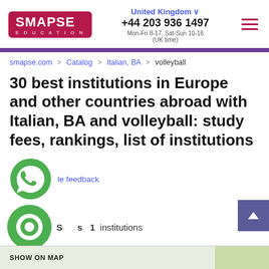SMAPSE EDUCATION | United Kingdom | +44 203 936 1497 | Mon-Fri 8-17, Sat-Sun 10-16 (UK time)
smapse.com > Catalog > Italian, BA > volleyball
30 best institutions in Europe and other countries abroad with Italian, BA and volleyball: study fees, rankings, list of institutions
le feedback
S s  1 institutions
SHOW ON MAP